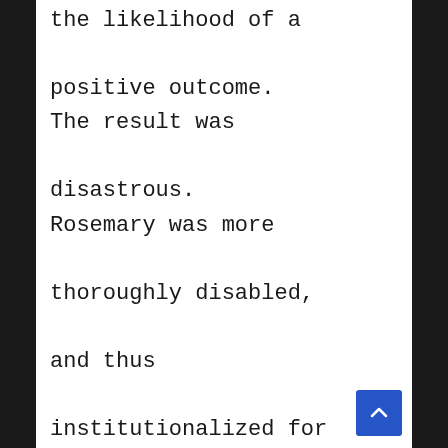the likelihood of a positive outcome. The result was disastrous. Rosemary was more thoroughly disabled, and thus institutionalized for the next 60 years until her passing in the early 2000s. Thus I his efforts are most likely sincere. We've researched this with interest,